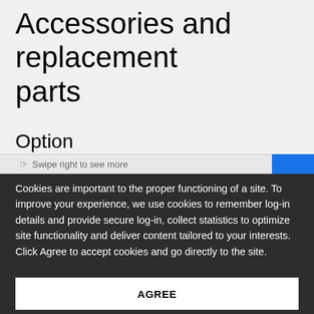Accessories and replacement parts
Option
Swipe right to see more
Cookies are important to the proper functioning of a site. To improve your experience, we use cookies to remember log-in details and provide secure log-in, collect statistics to optimize site functionality and deliver content tailored to your interests. Click Agree to accept cookies and go directly to the site.
AGREE